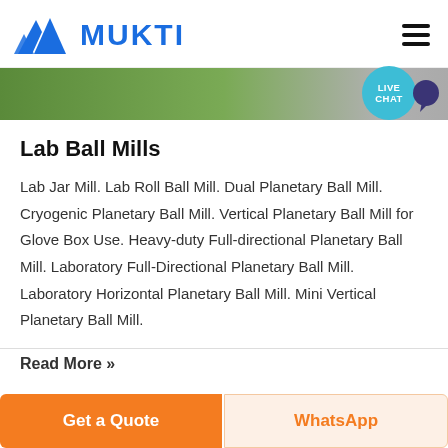MUKTI
[Figure (logo): Mukti logo with blue triangular mountain-like symbol and blue MUKTI text, plus hamburger menu icon on the right]
[Figure (photo): Green landscape banner strip with live chat bubble icon in teal]
Lab Ball Mills
Lab Jar Mill. Lab Roll Ball Mill. Dual Planetary Ball Mill. Cryogenic Planetary Ball Mill. Vertical Planetary Ball Mill for Glove Box Use. Heavy-duty Full-directional Planetary Ball Mill. Laboratory Full-Directional Planetary Ball Mill. Laboratory Horizontal Planetary Ball Mill. Mini Vertical Planetary Ball Mill.
Read More »
Get a Quote
WhatsApp